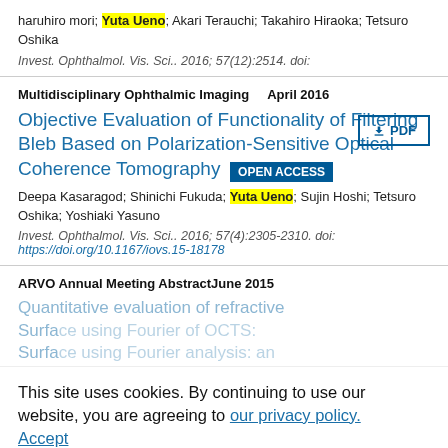haruhiro mori; Yuta Ueno; Akari Terauchi; Takahiro Hiraoka; Tetsuro Oshika
Invest. Ophthalmol. Vis. Sci.. 2016; 57(12):2514. doi:
Multidisciplinary Ophthalmic Imaging   April 2016
Objective Evaluation of Functionality of Filtering Bleb Based on Polarization-Sensitive Optical Coherence Tomography OPEN ACCESS
Deepa Kasaragod; Shinichi Fukuda; Yuta Ueno; Sujin Hoshi; Tetsuro Oshika; Yoshiaki Yasuno
Invest. Ophthalmol. Vis. Sci.. 2016; 57(4):2305-2310. doi: https://doi.org/10.1167/iovs.15-18178
ARVO Annual Meeting Abstract   June 2015
This site uses cookies. By continuing to use our website, you are agreeing to our privacy policy. Accept